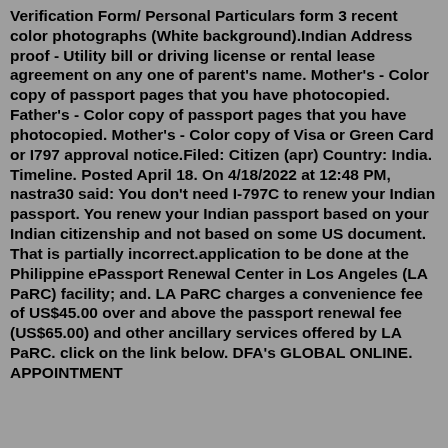Verification Form/ Personal Particulars form 3 recent color photographs (White background).Indian Address proof - Utility bill or driving license or rental lease agreement on any one of parent's name. Mother's - Color copy of passport pages that you have photocopied. Father's - Color copy of passport pages that you have photocopied. Mother's - Color copy of Visa or Green Card or I797 approval notice.Filed: Citizen (apr) Country: India. Timeline. Posted April 18. On 4/18/2022 at 12:48 PM, nastra30 said: You don't need I-797C to renew your Indian passport. You renew your Indian passport based on your Indian citizenship and not based on some US document. That is partially incorrect.application to be done at the Philippine ePassport Renewal Center in Los Angeles (LA PaRC) facility; and. LA PaRC charges a convenience fee of US$45.00 over and above the passport renewal fee (US$65.00) and other ancillary services offered by LA PaRC. click on the link below. DFA's GLOBAL ONLINE. APPOINTMENT